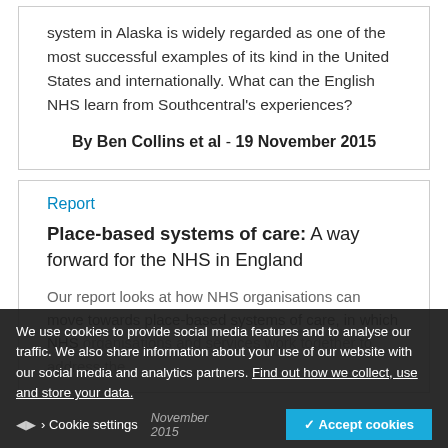system in Alaska is widely regarded as one of the most successful examples of its kind in the United States and internationally. What can the English NHS learn from Southcentral's experiences?
By Ben Collins et al - 19 November 2015
Report
Place-based systems of care: A way forward for the NHS in England
Our report looks at how NHS organisations can move towards place-based systems of care, in which NHS organisations and services work together to address the
We use cookies to provide social media features and to analyse our traffic. We also share information about your use of our website with our social media and analytics partners. Find out how we collect, use and store your data.